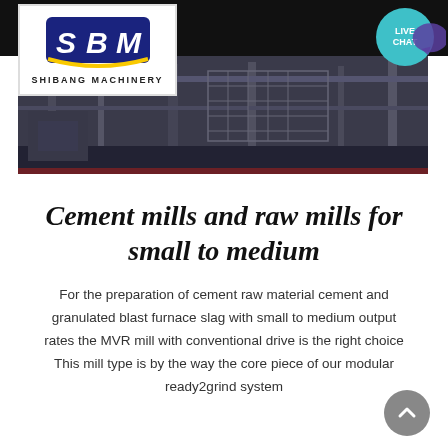[Figure (logo): SBM Shibang Machinery logo — blue and gold emblem with letters SBM and text SHIBANG MACHINERY below]
[Figure (photo): Industrial machinery/factory interior, dark tones, overhead structures visible]
Cement mills and raw mills for small to medium
For the preparation of cement raw material cement and granulated blast furnace slag with small to medium output rates the MVR mill with conventional drive is the right choice This mill type is by the way the core piece of our modular ready2grind system